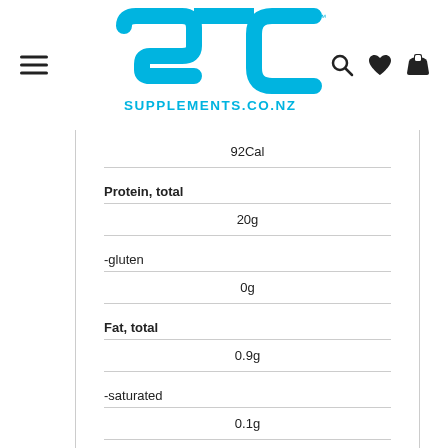[Figure (logo): SC Supplements.co.nz logo in cyan/blue]
92Cal
Protein, total
20g
-gluten
0g
Fat, total
0.9g
-saturated
0.1g